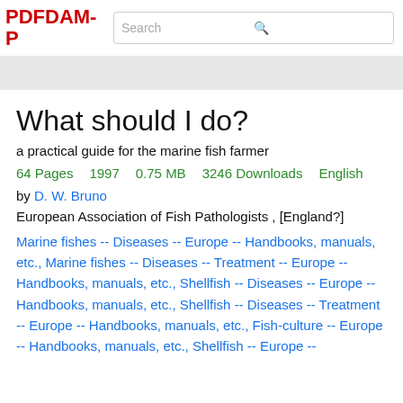PDFDAM-P
What should I do?
a practical guide for the marine fish farmer
64 Pages    1997    0.75 MB    3246 Downloads    English
by D. W. Bruno
European Association of Fish Pathologists , [England?]
Marine fishes -- Diseases -- Europe -- Handbooks, manuals, etc., Marine fishes -- Diseases -- Treatment -- Europe -- Handbooks, manuals, etc., Shellfish -- Diseases -- Europe -- Handbooks, manuals, etc., Shellfish -- Diseases -- Treatment -- Europe -- Handbooks, manuals, etc., Fish-culture -- Europe -- Handbooks, manuals, etc., Shellfish -- Europe --